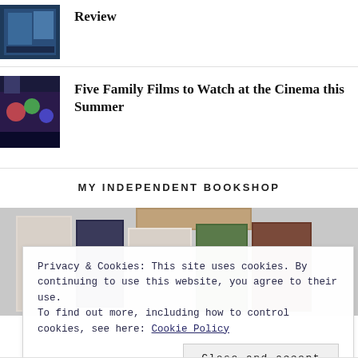[Figure (photo): Thumbnail image of a product or film (blue tones, game or movie box)]
Review
[Figure (photo): Thumbnail image showing colorful family film scene]
Five Family Films to Watch at the Cinema this Summer
MY INDEPENDENT BOOKSHOP
[Figure (photo): Book covers displayed in a bookshop setting]
Privacy & Cookies: This site uses cookies. By continuing to use this website, you agree to their use.
To find out more, including how to control cookies, see here: Cookie Policy
Close and accept